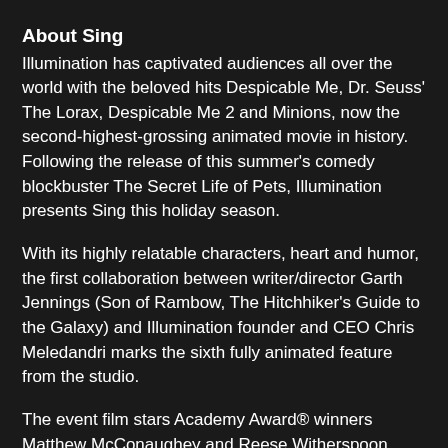About Sing
Illumination has captivated audiences all over the world with the beloved hits Despicable Me, Dr. Seuss' The Lorax, Despicable Me 2 and Minions, now the second-highest-grossing animated movie in history. Following the release of this summer's comedy blockbuster The Secret Life of Pets, Illumination presents Sing this holiday season.
With its highly relatable characters, heart and humor, the first collaboration between writer/director Garth Jennings (Son of Rambow, The Hitchhiker's Guide to the Galaxy) and Illumination founder and CEO Chris Meledandri marks the sixth fully animated feature from the studio.
The event film stars Academy Award® winners Matthew McConaughey and Reese Witherspoon, alongside Seth MacFarlane, Scarlett Johansson, John C. Reilly, Taron Egerton and Grammy Award-nominated Tori Kelly.
Set in a world like ours but entirely inhabited by animals, Sing stars Buster Moon (McConaughey), a dapper koala